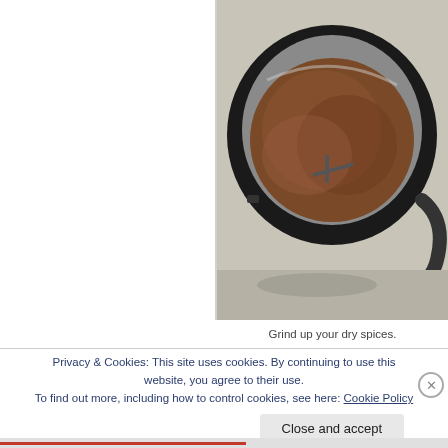[Figure (photo): A coffee grinder bowl filled with finely ground brown spices, viewed from above. The grinder has a black exterior with a stainless steel interior bowl.]
Grind up your dry spices.
Privacy & Cookies: This site uses cookies. By continuing to use this website, you agree to their use.
To find out more, including how to control cookies, see here: Cookie Policy
Close and accept